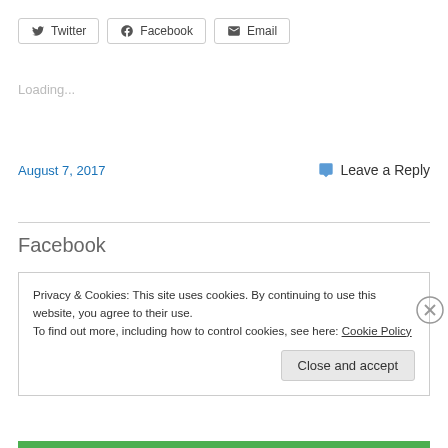Twitter  Facebook  Email
Loading...
August 7, 2017    Leave a Reply
Facebook
Privacy & Cookies: This site uses cookies. By continuing to use this website, you agree to their use.
To find out more, including how to control cookies, see here: Cookie Policy